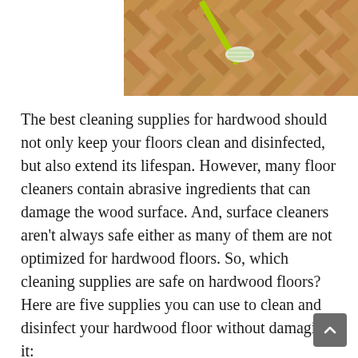[Figure (photo): Close-up photo of herringbone-pattern hardwood floor being cleaned with a green/yellow mop or duster]
The best cleaning supplies for hardwood should not only keep your floors clean and disinfected, but also extend its lifespan. However, many floor cleaners contain abrasive ingredients that can damage the wood surface. And, surface cleaners aren't always safe either as many of them are not optimized for hardwood floors. So, which cleaning supplies are safe on hardwood floors? Here are five supplies you can use to clean and disinfect your hardwood floor without damaging it: